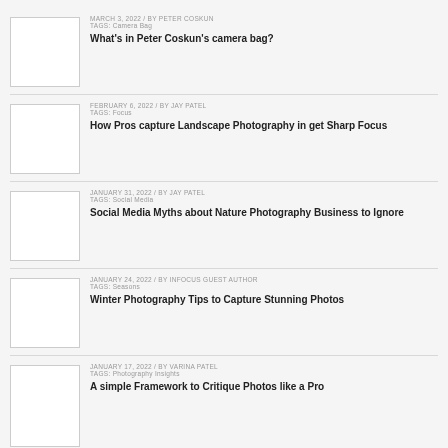MARCH 3, 2022 / BY PETER COSKUN TAGS: Camera Bag — What's in Peter Coskun's camera bag?
FEBRUARY 6, 2022 / BY JAY PATEL TAGS: Focus — How Pros capture Landscape Photography in get Sharp Focus
JANUARY 31, 2022 / BY JAY PATEL TAGS: Social Media — Social Media Myths about Nature Photography Business to Ignore
JANUARY 24, 2022 / BY INFOCUS GUEST AUTHOR TAGS: Seasons — Winter Photography Tips to Capture Stunning Photos
JANUARY 17, 2022 / BY VARINA PATEL TAGS: Photography Insights — A simple Framework to Critique Photos like a Pro
[Figure (other): Orange button at bottom of page]